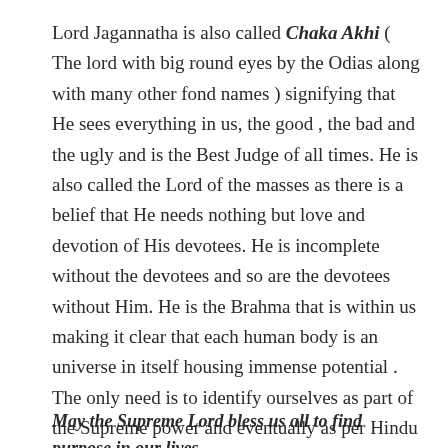Lord Jagannatha is also called Chaka Akhi ( The lord with big round eyes by the Odias along with many other fond names ) signifying that He sees everything in us, the good , the bad and the ugly and is the Best Judge of all times. He is also called the Lord of the masses as there is a belief that He needs nothing but love and devotion of His devotees. He is incomplete without the devotees and so are the devotees without Him. He is the Brahma that is within us making it clear that each human body is an universe in itself housing immense potential . The only need is to identify ourselves as part of the Supreme power and eventually as per Hindu belief the body will merge with Him after fulfilment of purpose of the mortal body.
May the Supreme Lord bless us all to find purpose in our lives